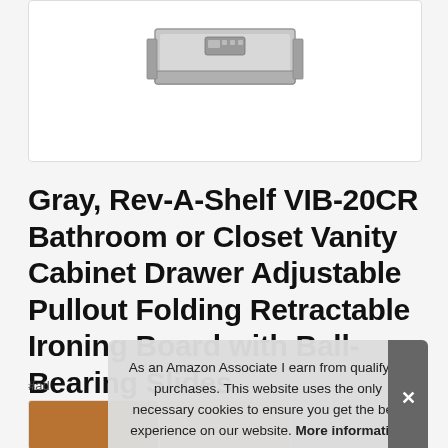[Figure (photo): Product photo of Rev-A-Shelf VIB-20CR ironing board drawer, gray metallic, partially pulled out, shown from above against white background]
Gray, Rev-A-Shelf VIB-20CR Bathroom or Closet Vanity Cabinet Drawer Adjustable Pullout Folding Retractable Ironing Board with Ball-Bearing Slides
#ad
As an Amazon Associate I earn from qualifying purchases. This website uses the only necessary cookies to ensure you get the best experience on our website. More information
[Figure (photo): Row of product thumbnail images at bottom of page]